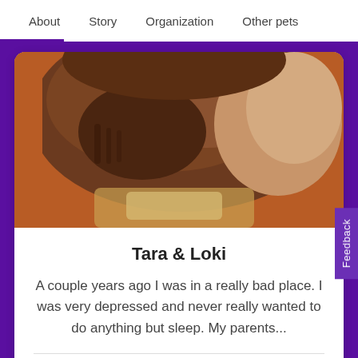About  Story  Organization  Other pets
[Figure (photo): Close-up photo of an animal (appears to be a dog or cat) with brown/tan fur, showing the top/back of its head. Orange-brown background visible.]
Tara & Loki
A couple years ago I was in a really bad place. I was very depressed and never really wanted to do anything but sleep. My parents...
READ MORE